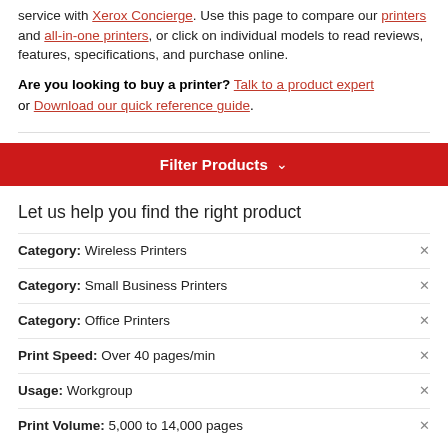service with Xerox Concierge. Use this page to compare our printers and all-in-one printers, or click on individual models to read reviews, features, specifications, and purchase online.
Are you looking to buy a printer? Talk to a product expert or Download our quick reference guide.
Filter Products ∨
Let us help you find the right product
Category: Wireless Printers
Category: Small Business Printers
Category: Office Printers
Print Speed: Over 40 pages/min
Usage: Workgroup
Print Volume: 5,000 to 14,000 pages